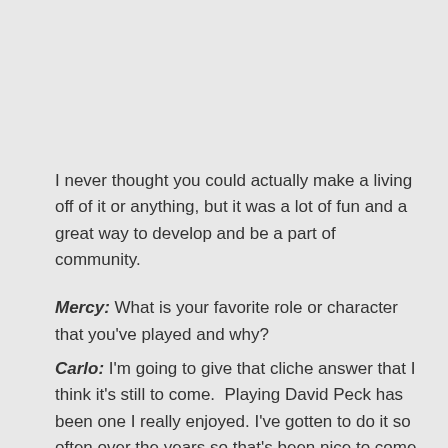I never thought you could actually make a living off of it or anything, but it was a lot of fun and a great way to develop and be a part of community.
Mercy: What is your favorite role or character that you've played and why?
Carlo: I'm going to give that cliche answer that I think it's still to come.  Playing David Peck has been one I really enjoyed. I've gotten to do it so often over the years so that's been nice to come home to that one but I think my favorite role is still to come.